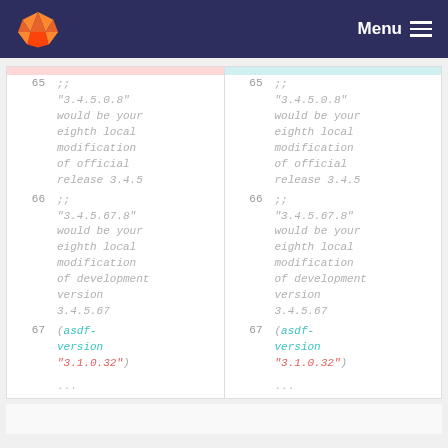GitLab — Menu
[Figure (screenshot): Two-column code diff view showing lines 65-67 of a file. Line 65 contains a comment ';; "3.4.5.0.8" would be your eighth local modification of official release 3.4.5'. Line 66 contains a comment ';; "3.4.5.67.8" would be your eighth local modification of development version 3.4.5.67'. Line 67 contains '(asdf-version "3.1.0.32")'. Both columns show identical content.]